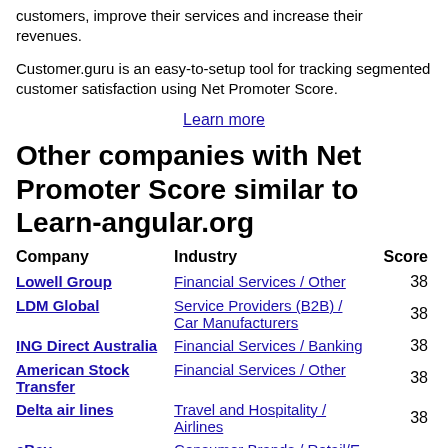customers, improve their services and increase their revenues.
Customer.guru is an easy-to-setup tool for tracking segmented customer satisfaction using Net Promoter Score.
Learn more
Other companies with Net Promoter Score similar to Learn-angular.org
| Company | Industry | Score |
| --- | --- | --- |
| Lowell Group | Financial Services / Other | 38 |
| LDM Global | Service Providers (B2B) / Car Manufacturers | 38 |
| ING Direct Australia | Financial Services / Banking | 38 |
| American Stock Transfer | Financial Services / Other | 38 |
| Delta air lines | Travel and Hospitality / Airlines | 38 |
| eBay | Consumer Brands / Retail/E-tail | 38 |
| Johnnie Walker | Consumer Brands / FMCG | 38 |